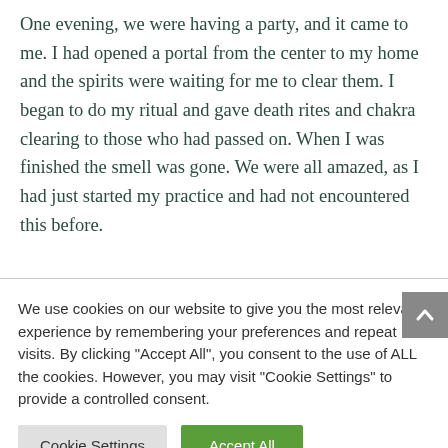One evening, we were having a party, and it came to me. I had opened a portal from the center to my home and the spirits were waiting for me to clear them. I began to do my ritual and gave death rites and chakra clearing to those who had passed on. When I was finished the smell was gone. We were all amazed, as I had just started my practice and had not encountered this before.
We use cookies on our website to give you the most relevant experience by remembering your preferences and repeat visits. By clicking "Accept All", you consent to the use of ALL the cookies. However, you may visit "Cookie Settings" to provide a controlled consent.